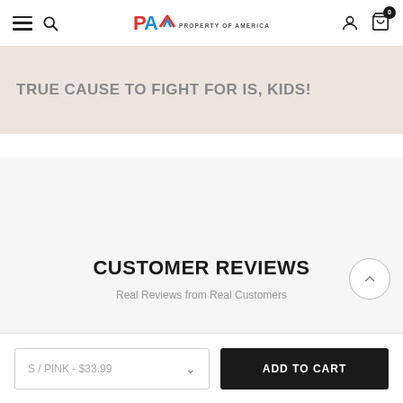Property of America navigation header with hamburger menu, search, logo, user icon, and cart (0)
TRUE CAUSE TO FIGHT FOR IS, KIDS!
CUSTOMER REVIEWS
Real Reviews from Real Customers
S / PINK - $33.99
ADD TO CART